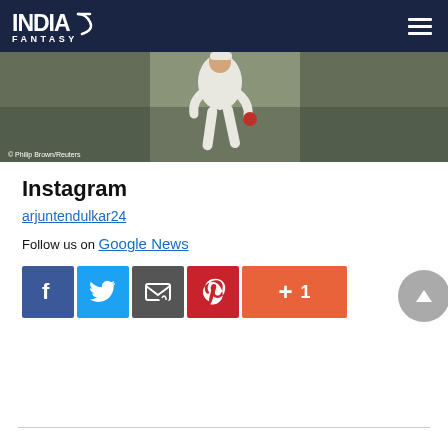INDIA FANTASY
[Figure (photo): Cricket bowler in white kit holding a red ball, photo credit: Philip Brown/Reuters]
Instagram
arjuntendulkar24
Follow us on Google News
[Figure (infographic): Social share buttons: Facebook, Twitter, Email, Pinterest, +1 button with count 1]